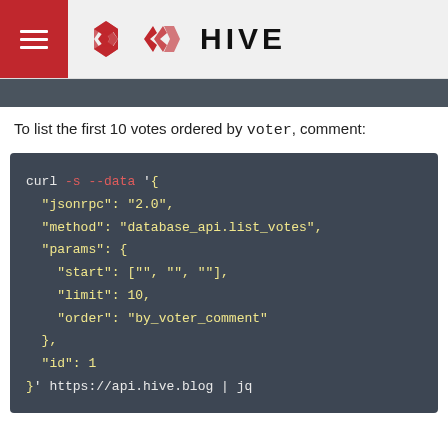HIVE
To list the first 10 votes ordered by voter, comment:
[Figure (screenshot): Code block showing curl command with JSON-RPC payload for database_api.list_votes with by_voter_comment ordering, sent to https://api.hive.blog | jq]